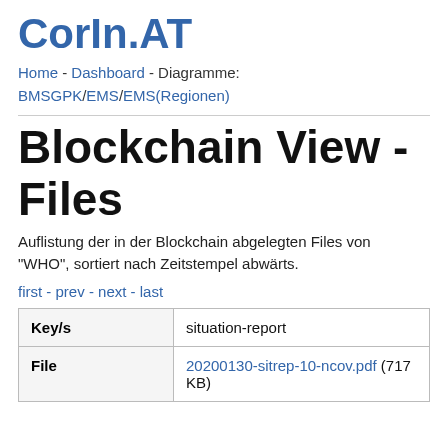CorIn.AT
Home - Dashboard - Diagramme: BMSGPK/EMS/EMS(Regionen)
Blockchain View - Files
Auflistung der in der Blockchain abgelegten Files von "WHO", sortiert nach Zeitstempel abwärts.
first - prev - next - last
| Key/s | Value |
| --- | --- |
| Key/s | situation-report |
| File | 20200130-sitrep-10-ncov.pdf (717 KB) |